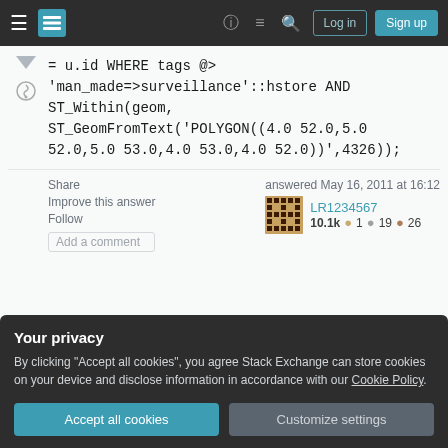Stack Exchange navigation bar with Log in and Sign up buttons
= u.id WHERE tags @> 'man_made=>surveillance'::hstore AND ST_Within(geom, ST_GeomFromText('POLYGON((4.0 52.0,5.0 52.0,5.0 53.0,4.0 53.0,4.0 52.0))',4326));
Share   Improve this answer   Follow   Add a comment
answered May 16, 2011 at 16:12
LR1234567
10.1k  1  19  26
Your privacy
By clicking "Accept all cookies", you agree Stack Exchange can store cookies on your device and disclose information in accordance with our Cookie Policy.
Accept all cookies   Customize settings